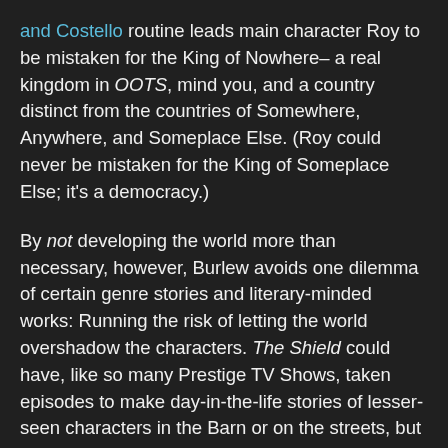and Costello routine leads main character Roy to be mistaken for the King of Nowhere– a real kingdom in OOTS, mind you, and a country distinct from the countries of Somewhere, Anywhere, and Someplace Else. (Roy could never be mistaken for the King of Someplace Else; it's a democracy.)
By not developing the world more than necessary, however, Burlew avoids one dilemma of certain genre stories and literary-minded works: Running the risk of letting the world overshadow the characters. The Shield could have, like so many Prestige TV Shows, taken episodes to make day-in-the-life stories of lesser-seen characters in the Barn or on the streets, but it chose not to. The forward thrust of the story was more important. Burlew has the opposite problem: With such a generic backdrop, there are few if any side roads to be taken in the main story. All roads ultimately lead